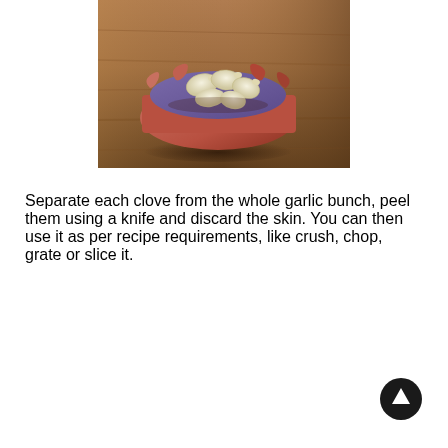[Figure (photo): A photo of peeled garlic cloves arranged in a decorative ceramic bowl with wavy/scalloped edges, set on a wooden surface. The bowl appears terracotta/salmon colored with a purple-blue interior.]
Separate each clove from the whole garlic bunch, peel them using a knife and discard the skin. You can then use it as per recipe requirements, like crush, chop, grate or slice it.
[Figure (other): A circular black button/icon with an upward-pointing white arrow, used as a navigation element to scroll to top.]